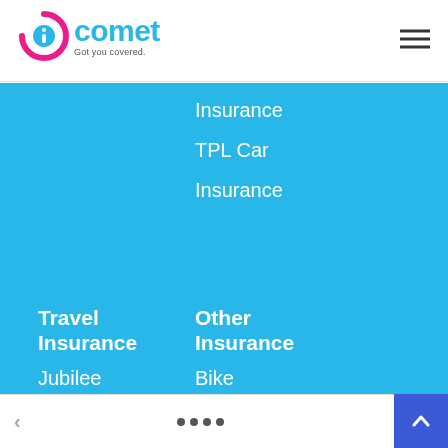[Figure (logo): iComet logo with pink and blue circular icon, text 'comet' in blue, tagline 'Got you covered.']
Insurance
TPL Car Insurance
Travel Insurance
Other Insurance
Jubilee
Travel
Bike
Home